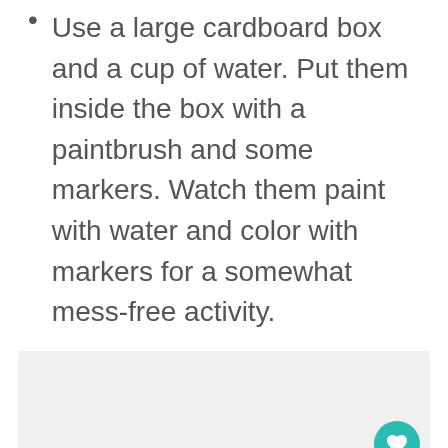Use a large cardboard box and a cup of water. Put them inside the box with a paintbrush and some markers. Watch them paint with water and color with markers for a somewhat mess-free activity.
[Figure (screenshot): Gray image placeholder area with a teal heart/like button showing 1.2K count, a white share button with share icon, and a partial pink bar visible at the bottom right.]